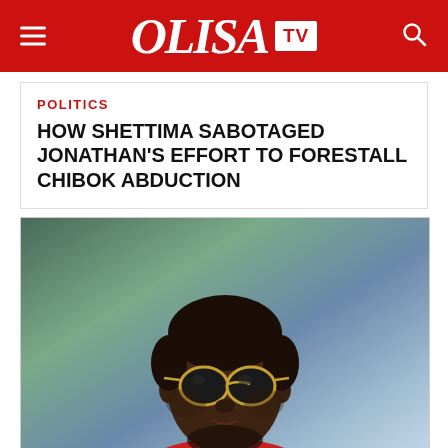OLISA TV
POLITICS
HOW SHETTIMA SABOTAGED JONATHAN'S EFFORT TO FORESTALL CHIBOK ABDUCTION
[Figure (photo): Portrait photo of a man wearing round sunglasses and a red jacket]
CELEBRITY